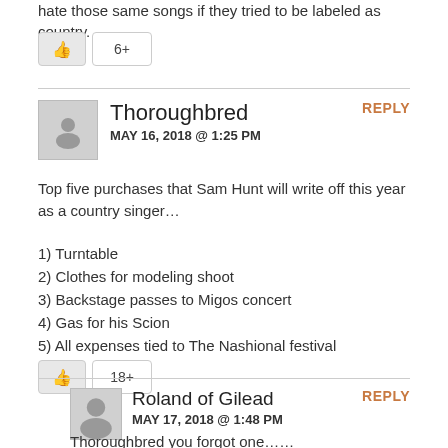hate those same songs if they tried to be labeled as country.
👍 6+
Thoroughbred
MAY 16, 2018 @ 1:25 PM
REPLY
Top five purchases that Sam Hunt will write off this year as a country singer…
1) Turntable
2) Clothes for modeling shoot
3) Backstage passes to Migos concert
4) Gas for his Scion
5) All expenses tied to The Nashional festival
👍 18+
Roland of Gilead
MAY 17, 2018 @ 1:48 PM
REPLY
Thoroughbred you forgot one……
6)Axe body spray lots and lots of Axe body spray